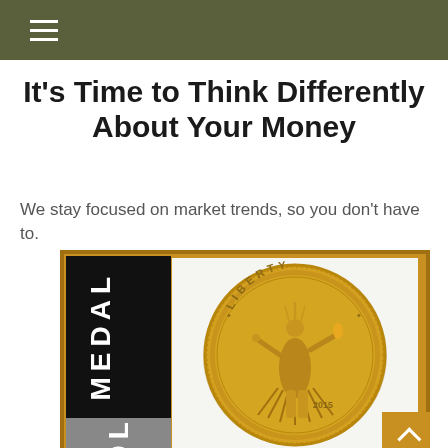navigation bar with hamburger menu
It's Time to Think Differently About Your Money
We stay focused on market trends, so you don't have to.
[Figure (illustration): Gold Medal gold coin product image showing an American Gold Eagle coin (2015) with Liberty figure, partially overlaid on a black and gold branded 'GOLD MEDAL' packaging design]